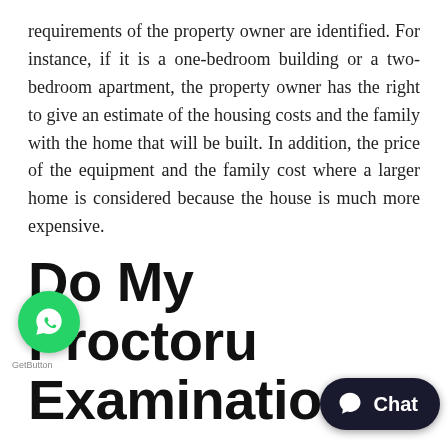requirements of the property owner are identified. For instance, if it is a one-bedroom building or a two-bedroom apartment, the property owner has the right to give an estimate of the housing costs and the family with the home that will be built. In addition, the price of the equipment and the family cost where a larger home is considered because the house is much more expensive.
Do My Proctoru Examination
The condition of the house that must have the property is determined such as the location of the basement area, the conditions of use and its length, age area in which it will be built. The UTEST its is a good first step for a correct placement conditions as shown in the photographs.Can I Take The